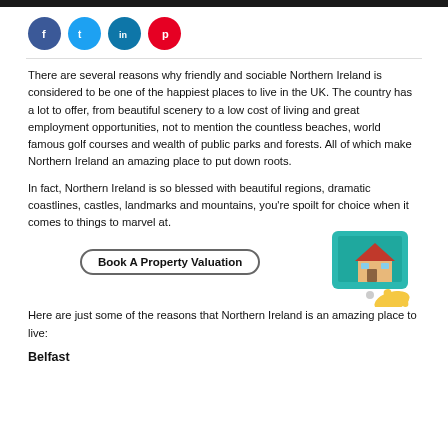[Figure (illustration): Social media share icons: Facebook (blue), Twitter (light blue), LinkedIn (teal/blue), Pinterest (red) — circular icons in a row]
There are several reasons why friendly and sociable Northern Ireland is considered to be one of the happiest places to live in the UK. The country has a lot to offer, from beautiful scenery to a low cost of living and great employment opportunities, not to mention the countless beaches, world famous golf courses and wealth of public parks and forests. All of which make Northern Ireland an amazing place to put down roots.
In fact, Northern Ireland is so blessed with beautiful regions, dramatic coastlines, castles, landmarks and mountains, you're spoilt for choice when it comes to things to marvel at.
[Figure (illustration): Book A Property Valuation button with a tablet/house illustration showing a house graphic on a teal tablet screen with a hand pointing]
Here are just some of the reasons that Northern Ireland is an amazing place to live:
Belfast